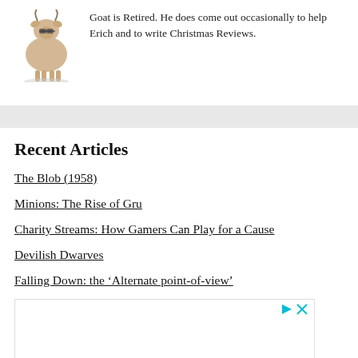Goat is Retired. He does come out occasionally to help Erich and to write Christmas Reviews.
Recent Articles
The Blob (1958)
Minions: The Rise of Gru
Charity Streams: How Gamers Can Play for a Cause
Devilish Dwarves
Falling Down: the ‘Alternate point-of-view’
[Figure (other): Advertisement box with play and close icons in top right corner]